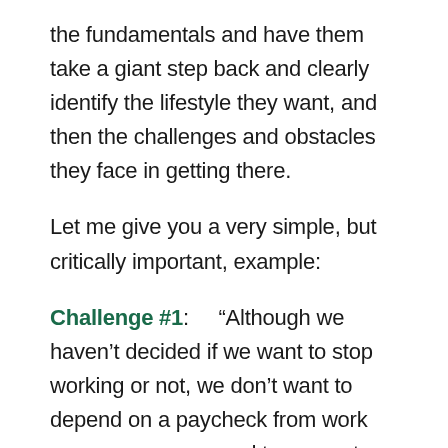the fundamentals and have them take a giant step back and clearly identify the lifestyle they want, and then the challenges and obstacles they face in getting there.
Let me give you a very simple, but critically important, example:
Challenge #1: “Although we haven’t decided if we want to stop working or not, we don’t want to depend on a paycheck from work anymore, so we need to generate income some other way.”